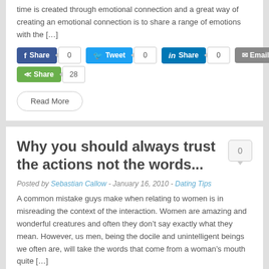time is created through emotional connection and a great way of creating an emotional connection is to share a range of emotions with the [...]
[Figure (infographic): Social share buttons: Facebook Share (0), Twitter Tweet (0), LinkedIn Share (0), Email (0), green Share (28), and Read More button]
Why you should always trust the actions not the words...
Posted by Sebastian Callow - January 16, 2010 - Dating Tips
A common mistake guys make when relating to women is in misreading the context of the interaction. Women are amazing and wonderful creatures and often they don't say exactly what they mean. However, us men, being the docile and unintelligent beings we often are, will take the words that come from a woman's mouth quite [...]
[Figure (infographic): Social share buttons: Facebook Share (0), Twitter Tweet (0), LinkedIn Share (0), Email (0), green Share (245)]